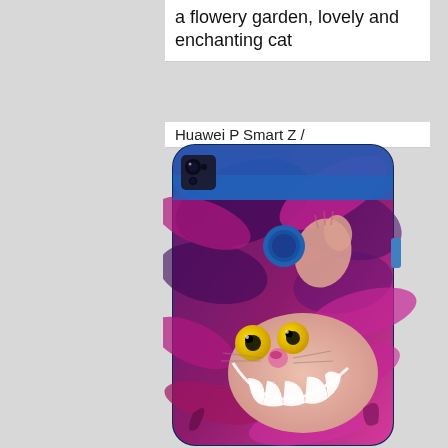a flowery garden, lovely and enchanting cat
Huawei P Smart Z /
[Figure (photo): A Huawei P Smart Z smartphone with a Cheshire Cat phone case featuring a colorful illustration of the grinning cat from Alice in Wonderland, with pink and purple tones, yellow eyes, and a wide smile.]